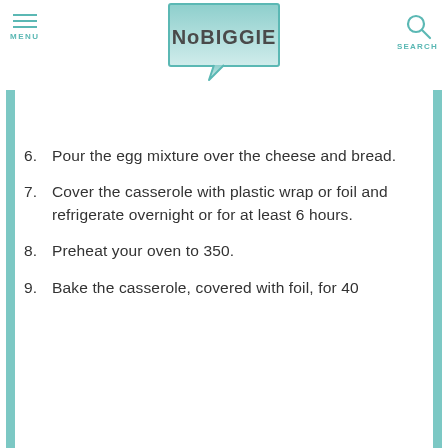MENU | NoBIGGIE | SEARCH
[Figure (logo): NoBIGGIE logo - speech bubble with gradient teal fill and NoBIGGIE text]
6. Pour the egg mixture over the cheese and bread.
7. Cover the casserole with plastic wrap or foil and refrigerate overnight or for at least 6 hours.
8. Preheat your oven to 350.
9. Bake the casserole, covered with foil, for 40